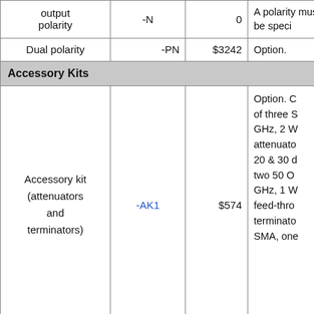| Option | Code | Price | Description |
| --- | --- | --- | --- |
| output polarity | -N | 0 | A polarity must be specified. |
| Dual polarity | -PN | $3242 | Option. |
| Accessory Kits |  |  |  |
| Accessory kit (attenuators and terminators) | -AK1 | $574 | Option. Consists of three SMA, 18 GHz, 2 W attenuators (10, 20 & 30 dB), two 50 Ohm, 18 GHz, 1 W SMA feed-through terminators, SMA, one... |
|  |  |  | Option. O... |